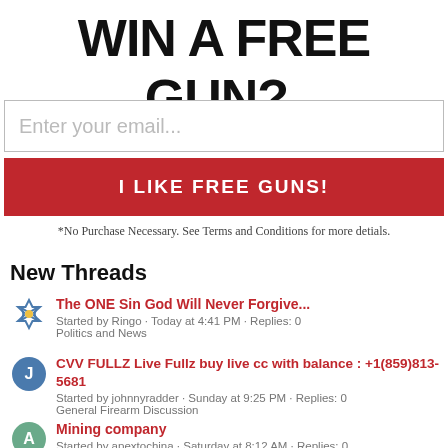WIN A FREE GUN?×
Enter your email...
I LIKE FREE GUNS!
*No Purchase Necessary. See Terms and Conditions for more detials.
New Threads
The ONE Sin God Will Never Forgive...
Started by Ringo · Today at 4:41 PM · Replies: 0
Politics and News
CVV FULLZ Live Fullz buy live cc with balance : +1(859)813-5681
Started by johnnyradder · Sunday at 9:25 PM · Replies: 0
General Firearm Discussion
Mining company
Started by apextochina · Saturday at 8:12 AM · Replies: 0
Florida Discussion and Firearm News